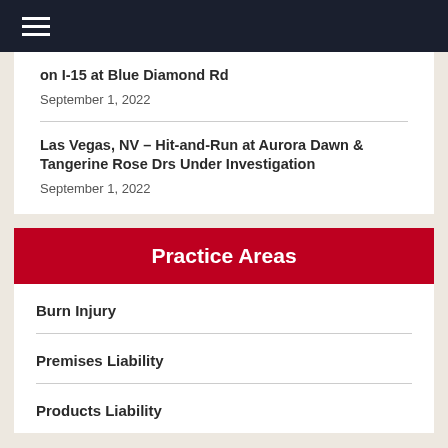on I-15 at Blue Diamond Rd
September 1, 2022
Las Vegas, NV – Hit-and-Run at Aurora Dawn & Tangerine Rose Drs Under Investigation
September 1, 2022
Practice Areas
Burn Injury
Premises Liability
Products Liability